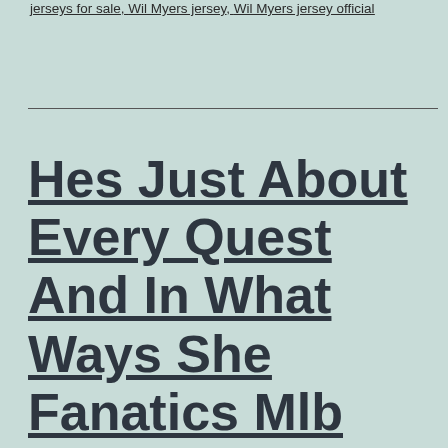jerseys for sale, Wil Myers jersey, Wil Myers jersey official
Hes Just About Every Quest And In What Ways She Fanatics Mlb Jersey Sizing Is Carrying